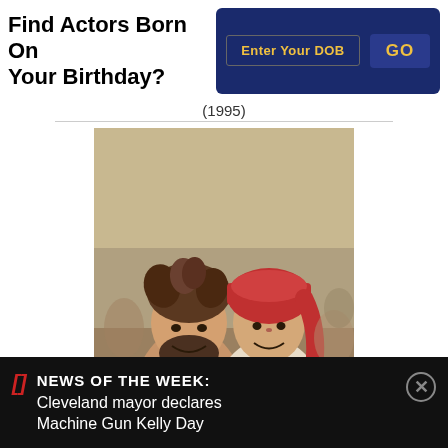Find Actors Born On Your Birthday?
Enter Your DOB
GO
(1995)
[Figure (photo): Two men outdoors in a crowd scene; one shirtless with wild hair, one wearing a red headscarf and light top, both smiling and leaning together.]
NEWS OF THE WEEK: Cleveland mayor declares Machine Gun Kelly Day